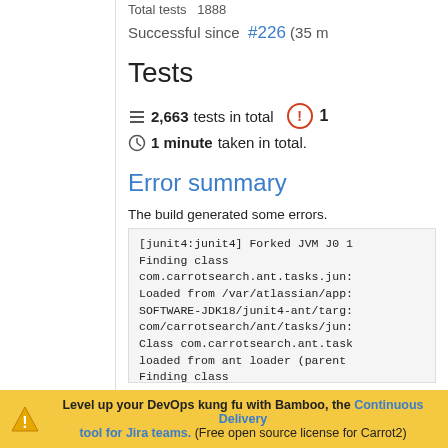Total tests  1888
Successful since  #226 (35 m
Tests
2,663 tests in total  1 minute taken in total.
Error summary
The build generated some errors.
[junit4:junit4] Forked JVM J0 1
Finding class
com.carrotsearch.ant.tasks.jun:
Loaded from /var/atlassian/app:
SOFTWARE-JDK18/junit4-ant/targ:
com/carrotsearch/ant/tasks/jun:
Class com.carrotsearch.ant.task
loaded from ant loader (parent
Finding class
com.carrotsearch.ant.tasks.jun:
Loaded from /var/atlassian/app:
SOFTWARE-JDK18/junit4-ant/targ:
com/carrotsearch/ant/tasks/jun:
Level up your DevOps kung fu with Bamboo, the Continuous Delivery tool for Jira teams. (Free open source license for Carrot2)